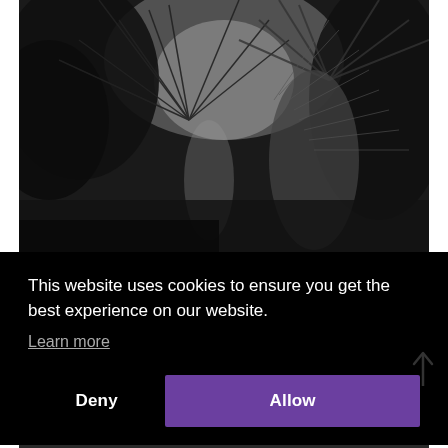[Figure (photo): Black and white photograph looking up at palm trees and tropical foliage against a bright sky]
This website uses cookies to ensure you get the best experience on our website.
Learn more
Deny
Allow
[Figure (photo): Partial black and white photograph visible at bottom of page]